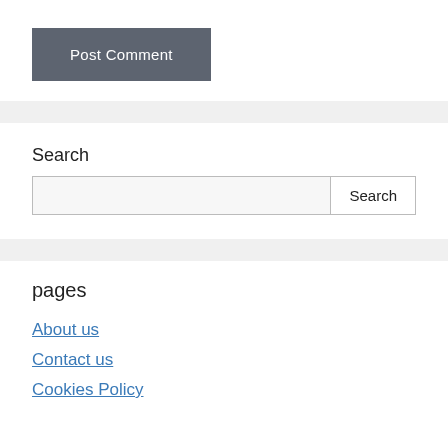[Figure (screenshot): Post Comment button with dark gray background and white text]
Search
[Figure (screenshot): Search input box with Search button on the right]
pages
About us
Contact us
Cookies Policy